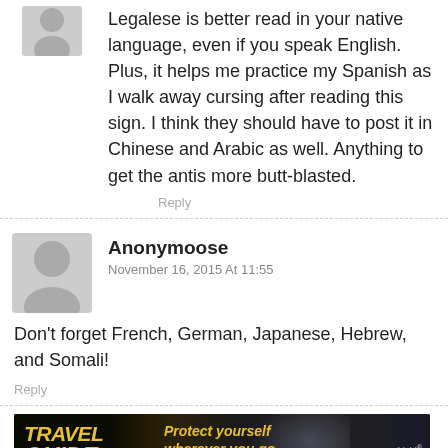Legalese is better read in your native language, even if you speak English. Plus, it helps me practice my Spanish as I walk away cursing after reading this sign. I think they should have to post it in Chinese and Arabic as well. Anything to get the antis more butt-blasted.
Reply
Anonymoose
November 16, 2015 At 11:55
Don't forget French, German, Japanese, Hebrew, and Somali!
Reply
[Figure (photo): Advertisement banner: Travel Guide for Gun Owners - Protect yourself wherever you go. U.S. LawShield.]